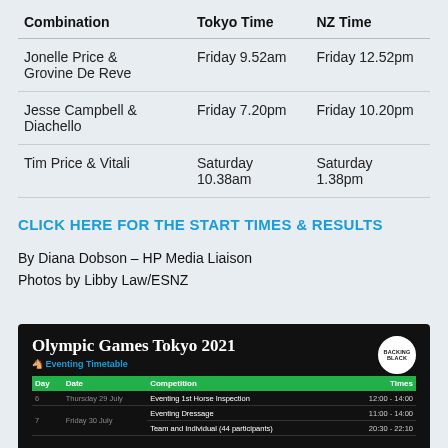| Combination | Tokyo Time | NZ Time |
| --- | --- | --- |
| Jonelle Price &
Grovine De Reve | Friday 9.52am | Friday 12.52pm |
| Jesse Campbell &
Diachello | Friday 7.20pm | Friday 10.20pm |
| Tim Price & Vitali | Saturday
10.38am | Saturday
1.38pm |
CLICK HERE FOR THE START TIMES & RESULTS
By Diana Dobson – HP Media Liaison
Photos by Libby Law/ESNZ
[Figure (infographic): Olympic Games Tokyo 2021 Eventing Timetable infographic on black background with green header row table showing day, date, competition and times. Day 6: Thursday 29 July - Eventing 1st Horse Inspection 12:00-14:00. Day 7: Friday 30 July - Eventing Dressage 11:00-14:00, Team and Individual (44 participants) 20:30-22:10. Backing Black logo in top right.]